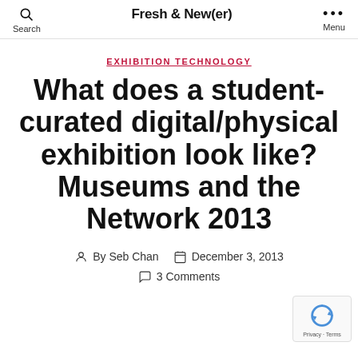Fresh & New(er)
EXHIBITION TECHNOLOGY
What does a student-curated digital/physical exhibition look like? Museums and the Network 2013
By Seb Chan — December 3, 2013
3 Comments